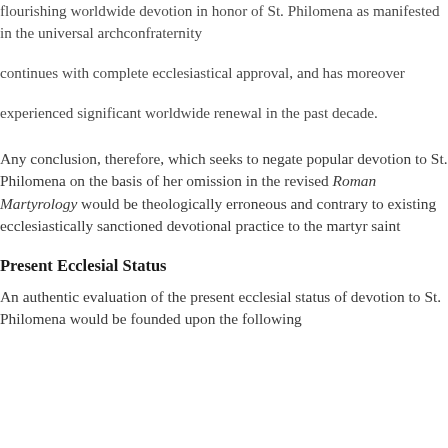flourishing worldwide devotion in honor of St. Philomena as manifested in the universal archconfraternity
continues with complete ecclesiastical approval, and has moreover
experienced significant worldwide renewal in the past decade.
Any conclusion, therefore, which seeks to negate popular devotion to St. Philomena on the basis of her omission in the revised Roman Martyrology would be theologically erroneous and contrary to existing ecclesiastically sanctioned devotional practice to the martyr saint
Present Ecclesial Status
An authentic evaluation of the present ecclesial status of devotion to St. Philomena would be founded upon the following